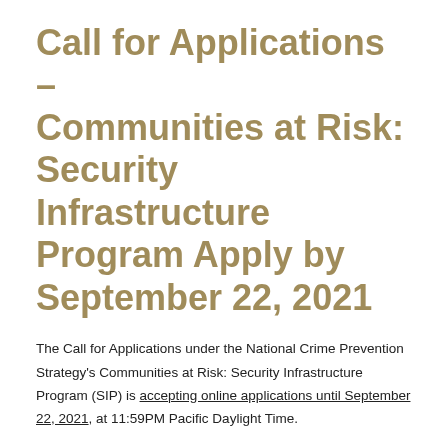Call for Applications – Communities at Risk: Security Infrastructure Program Apply by September 22, 2021
The Call for Applications under the National Crime Prevention Strategy's Communities at Risk: Security Infrastructure Program (SIP) is accepting online applications until September 22, 2021, at 11:59PM Pacific Daylight Time.
To apply and for more information on eligibility and the program itself please visit Public Safety Canada's